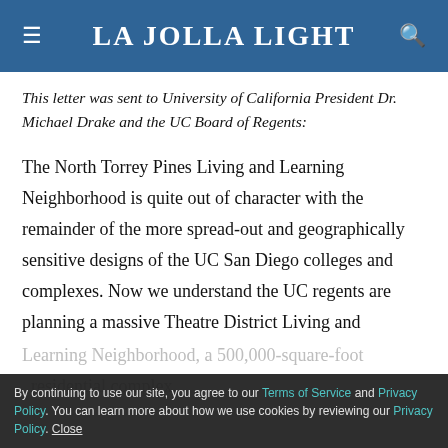La Jolla Light
This letter was sent to University of California President Dr. Michael Drake and the UC Board of Regents:
The North Torrey Pines Living and Learning Neighborhood is quite out of character with the remainder of the more spread-out and geographically sensitive designs of the UC San Diego colleges and complexes. Now we understand the UC regents are planning a massive Theatre District Living and Learning Neighborhood, a 500,000-square-foot residential complex.
By continuing to use our site, you agree to our Terms of Service and Privacy Policy. You can learn more about how we use cookies by reviewing our Privacy Policy. Close